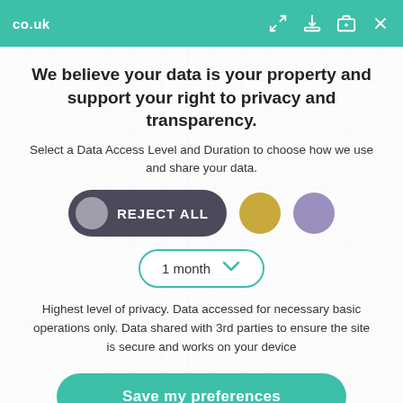co.uk
We believe your data is your property and support your right to privacy and transparency.
Select a Data Access Level and Duration to choose how we use and share your data.
[Figure (infographic): Three data access level options: a dark pill button labeled REJECT ALL with a grey circle on the left, a gold circle, and a purple circle]
[Figure (infographic): Duration dropdown selector showing '1 month' with a teal chevron down arrow, outlined with teal border]
Highest level of privacy. Data accessed for necessary basic operations only. Data shared with 3rd parties to ensure the site is secure and works on your device
Save my preferences